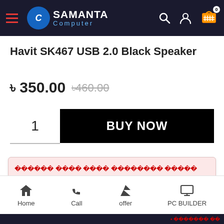Samanta Computer - navigation bar
Havit SK467 USB 2.0 Black Speaker
৳ 350.00  ৳460.00
1  BUY NOW
[Bengali text notice - replacement characters indicating unsupported font]
Home  Call  offer  PC BUILDER